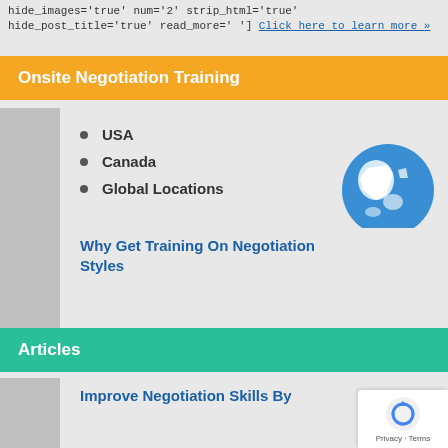hide_images='true' num='2' strip_html='true' hide_post_title='true' read_more=' '] Click here to learn more »
Onsite Negotiation Training
USA
Canada
Global Locations
[Figure (illustration): Globe icon showing North America in blue and white]
Articles
Why Get Training On Negotiation Styles
Improve Negotiation Skills By
[Figure (logo): Google reCAPTCHA privacy badge with spinning arrows icon and Privacy - Terms text]